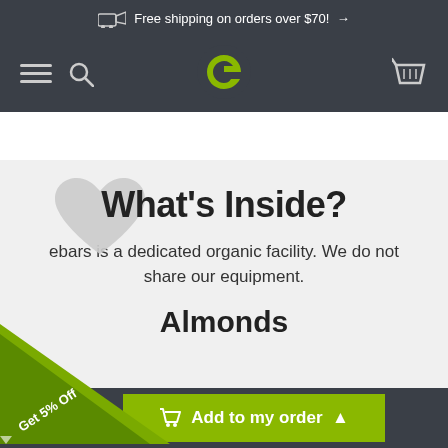Free shipping on orders over $70! →
[Figure (screenshot): Navigation bar with hamburger menu, search icon, green 'e' logo, and shopping basket icon on dark background]
What's Inside?
ebars is a dedicated organic facility. We do not share our equipment.
Almonds
[Figure (infographic): Green triangle discount badge in bottom-left corner with text 'Get 5% Off']
Add to my order